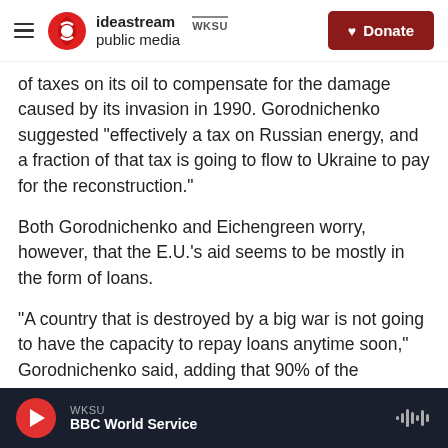ideastream public media | WKSU | Donate
of taxes on its oil to compensate for the damage caused by its invasion in 1990. Gorodnichenko suggested "effectively a tax on Russian energy, and a fraction of that tax is going to flow to Ukraine to pay for the reconstruction."
Both Gorodnichenko and Eichengreen worry, however, that the E.U.'s aid seems to be mostly in the form of loans.
"A country that is destroyed by a big war is not going to have the capacity to repay loans anytime soon," Gorodnichenko said, adding that 90% of the Marshall Plan aid was given in the form of grants
WKSU | BBC World Service